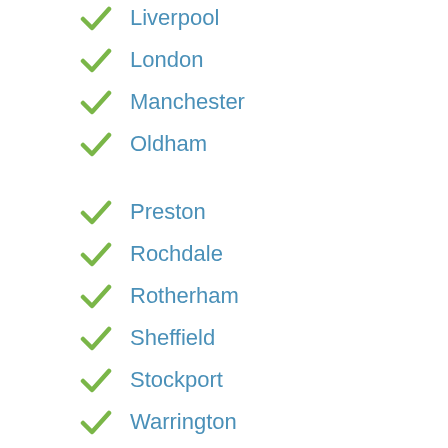Liverpool
London
Manchester
Oldham
Preston
Rochdale
Rotherham
Sheffield
Stockport
Warrington
Wigan
Worksop